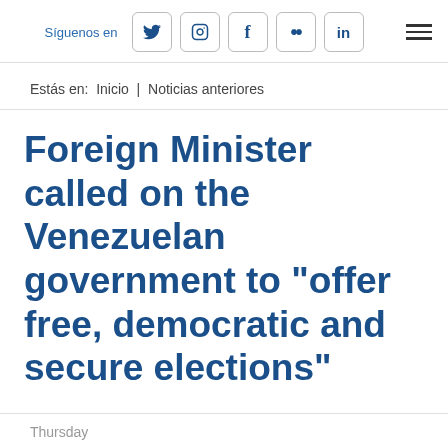Síguenos en [social icons: Twitter, Instagram, Facebook, Flickr, LinkedIn] [hamburger menu]
Estás en:  Inicio  |  Noticias anteriores
Foreign Minister called on the Venezuelan government to "offer free, democratic and secure elections"
Thursday